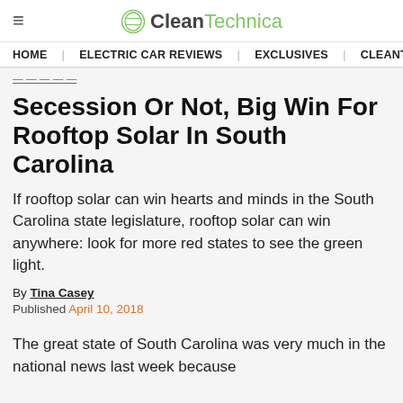≡ CleanTechnica
HOME   ELECTRIC CAR REVIEWS   EXCLUSIVES   CLEANTECHN
[breadcrumb link]
Secession Or Not, Big Win For Rooftop Solar In South Carolina
If rooftop solar can win hearts and minds in the South Carolina state legislature, rooftop solar can win anywhere: look for more red states to see the green light.
By Tina Casey
Published April 10, 2018
The great state of South Carolina was very much in the national news last week because